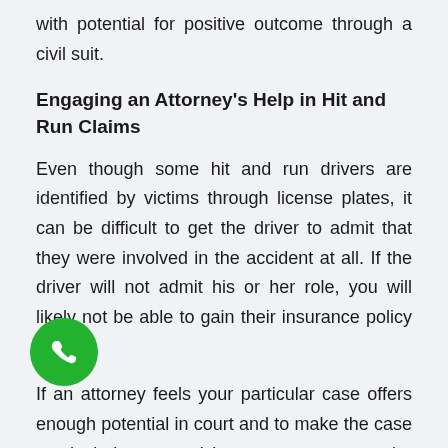with potential for positive outcome through a civil suit.
Engaging an Attorney's Help in Hit and Run Claims
Even though some hit and run drivers are identified by victims through license plates, it can be difficult to get the driver to admit that they were involved in the accident at all. If the driver will not admit his or her role, you will likely not be able to gain their insurance policy details.
If an attorney feels your particular case offers enough potential in court and to make the case worth their time and investment, you may be able to gain an attorney's support for a hit and run claim. A lawsuit